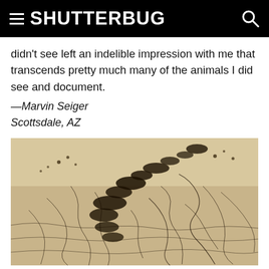SHUTTERBUG
didn't see left an indelible impression with me that transcends pretty much many of the animals I did see and document.
—Marvin Seiger
Scottsdale, AZ
[Figure (photo): Sepia-toned aerial or close-up photograph of cracked dry earth/mud flat with dark patches or animal tracks creating a winding trail across the cracked terrain.]